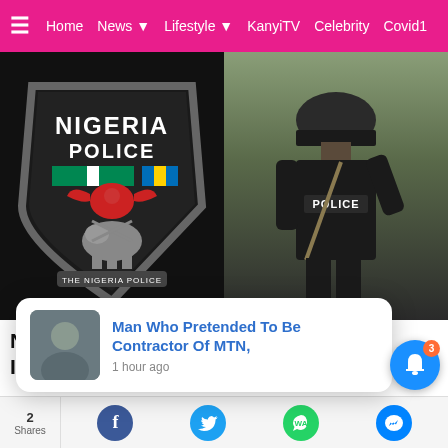≡  Home  News ▾  Lifestyle ▾  KanyiTV  Celebrity  Covid1
[Figure (photo): Split image: left side shows Nigeria Police badge/crest on dark background; right side shows uniformed police officer from behind wearing POLICE-labeled vest and tactical helmet]
Nigerian Police Commission Declares Indefinite Strike Over 'Breach Of Working [Conditions]'
[Figure (screenshot): Popup notification card showing thumbnail of a man and text: 'Man Who Pretended To Be Contractor Of MTN,' with timestamp '1 hour ago']
2 Shares  [Facebook] [Twitter] [WhatsApp] [Messenger]